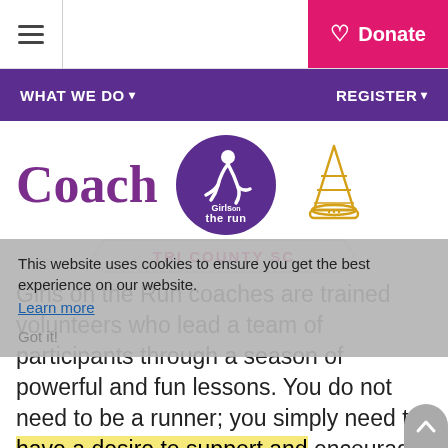≡ | Donate
WHAT WE DO∨  REGISTER∨
Coach
[Figure (logo): Girls on the Run circular logo with runner silhouette, purple background]
[Figure (illustration): Orange/yellow traffic cone outline icon]
TRI COUNTY SC
Girls on the Run coaches are trained volunteers who lead a team of participants through a season of powerful and fun lessons. You do not need to be a runner; you simply need to have a desire to support and encourage the next generation. Coaches receive all the tools and
This website uses cookies to ensure you get the best experience on our website.
Learn more
Got it!